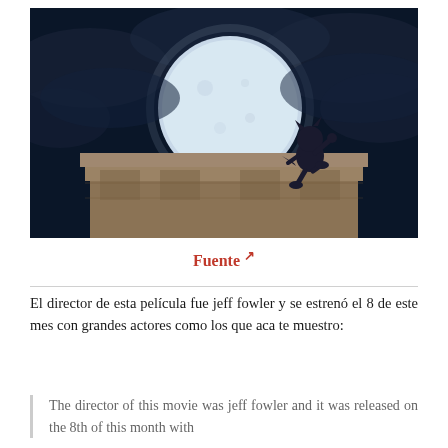[Figure (photo): Movie still showing a silhouetted cartoon character (Sonic the Hedgehog) standing on top of a stone building against a large full moon in a dark cloudy night sky.]
Fuente ↗
El director de esta película fue jeff fowler y se estrenó el 8 de este mes con grandes actores como los que aca te muestro:
The director of this movie was jeff fowler and it was released on the 8th of this month with